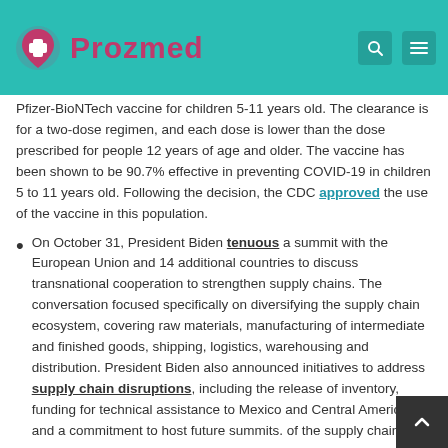Prozmed
Pfizer-BioNTech vaccine for children 5-11 years old. The clearance is for a two-dose regimen, and each dose is lower than the dose prescribed for people 12 years of age and older. The vaccine has been shown to be 90.7% effective in preventing COVID-19 in children 5 to 11 years old. Following the decision, the CDC approved the use of the vaccine in this population.
On October 31, President Biden tenuous a summit with the European Union and 14 additional countries to discuss transnational cooperation to strengthen supply chains. The conversation focused specifically on diversifying the supply chain ecosystem, covering raw materials, manufacturing of intermediate and finished goods, shipping, logistics, warehousing and distribution. President Biden also announced initiatives to address supply chain disruptions, including the release of inventory, funding for technical assistance to Mexico and Central America, and a commitment to host future summits. of the supply chain.
On November 3, the administration announcement that i